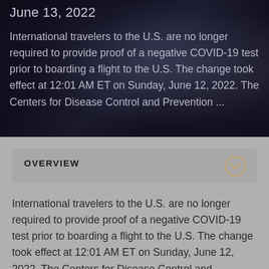June 13, 2022
International travelers to the U.S. are no longer required to provide proof of a negative COVID-19 test prior to boarding a flight to the U.S. The change took effect at 12:01 AM ET on Sunday, June 12, 2022. The Centers for Disease Control and Prevention ...
OVERVIEW
International travelers to the U.S. are no longer required to provide proof of a negative COVID-19 test prior to boarding a flight to the U.S. The change took effect at 12:01 AM ET on Sunday, June 12, 2022. The Centers for Disease Control and Prevention (CDC) will reassess the decision to